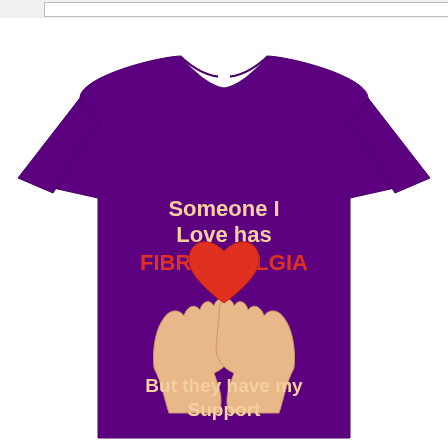[Figure (photo): A purple t-shirt with text 'Someone I Love has FIBROMYALGIA But they have my Support' and an illustration of two hands holding a red heart, printed on the chest area of the shirt.]